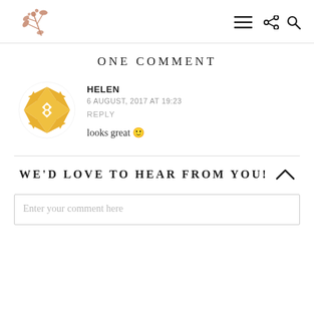[Figure (logo): Botanical branch/leaf logo in rose-gold/copper tone]
[Figure (other): Hamburger menu icon (three horizontal lines)]
[Figure (other): Share icon and search/magnify icon]
ONE COMMENT
[Figure (other): User avatar: yellow/gold geometric star quilt block pattern]
HELEN
6 AUGUST, 2017 AT 19:23
REPLY
looks great 🙂
WE'D LOVE TO HEAR FROM YOU!
Enter your comment here